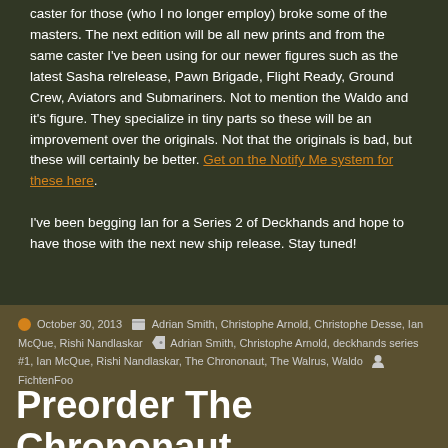caster for those (who I no longer employ) broke some of the masters. The next edition will be all new prints and from the same caster I've been using for our newer figures such as the latest Sasha relrelease, Pawn Brigade, Flight Ready, Ground Crew, Aviators and Submariners. Not to mention the Waldo and it's figure. They specialize in tiny parts so these will be an improvement over the originals. Not that the originals is bad, but these will certainly be better. Get on the Notify Me system for these here.
I've been begging Ian for a Series 2 of Deckhands and hope to have those with the next new ship release. Stay tuned!
October 30, 2013  Adrian Smith, Christophe Arnold, Christophe Desse, Ian McQue, Rishi Nandlaskar  Adrian Smith, Christophe Arnold, deckhands series #1, Ian McQue, Rishi Nandlaskar, The Chrononaut, The Walrus, Waldo  FichtenFoo
Preorder The Chrononaut Now!